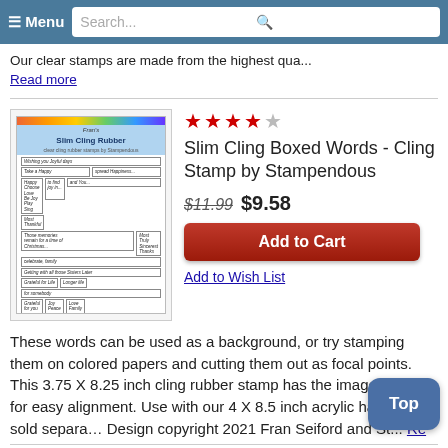≡ Menu   Search...
Our clear stamps are made from the highest qua... Read more
[Figure (photo): Product image of Slim Cling Rubber stamp sheet with various boxed words]
★★★★☆ Slim Cling Boxed Words - Cling Stamp by Stampendous $11.99 $9.58
Add to Cart
Add to Wish List
These words can be used as a background, or try stamping them on colored papers and cutting them out as focal points. This 3.75 X 8.25 inch cling rubber stamp has the image on top for easy alignment. Use with our 4 X 8.5 inch acrylic handle, sold separa… Design copyright 2021 Fran Seiford and St... Re